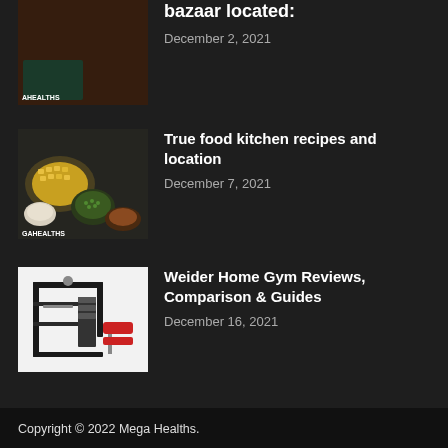[Figure (photo): Partial view of a food/health related thumbnail with AHEALTHS watermark — top cropped]
bazaar located:
December 2, 2021
[Figure (photo): Food ingredients on a dark surface with GAHEALTHS watermark — bowls of corn, spices, green herbs]
True food kitchen recipes and location
December 7, 2021
[Figure (photo): Weider home gym machine on white background]
Weider Home Gym Reviews, Comparison & Guides
December 16, 2021
Copyright © 2022 Mega Healths.
About Us    Contact Us    Terms and Conditions
Privacy and Policy